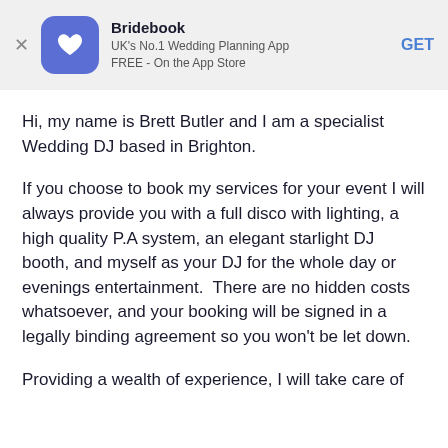[Figure (logo): Bridebook app banner with logo icon, app name, subtitle, and GET button]
Hi, my name is Brett Butler and I am a specialist Wedding DJ based in Brighton.
If you choose to book my services for your event I will always provide you with a full disco with lighting, a high quality P.A system, an elegant starlight DJ booth, and myself as your DJ for the whole day or evenings entertainment.  There are no hidden costs whatsoever, and your booking will be signed in a legally binding agreement so you won't be let down.
Providing a wealth of experience, I will take care of